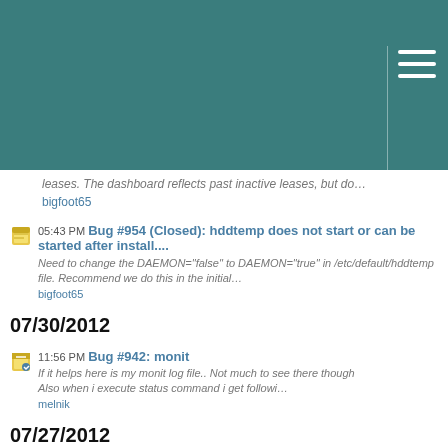service is not found...
Think this one is resolved.
leases. The dashboard reflects past inactive leases, but do…
bigfoot65
05:43 PM Bug #954 (Closed): hddtemp does not start or can be started after install....
Need to change the DAEMON="false" to DAEMON="true" in /etc/default/hddtemp file. Recommend we do this in the initial…
bigfoot65
07/30/2012
11:56 PM Bug #942: monit
If it helps here is my monit log file.. Not much to see there though
Also when i execute status command i get followi…
melnik
07/27/2012
07:16 PM Bug #929: RPM Apps Convert to DEB
VNC and IPSec VPN are fixed. AmahiTunes and amahi-netboot are left to fix for Ubuntu.